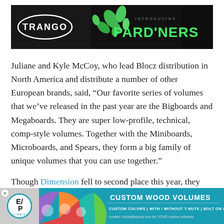[Figure (illustration): Trango climbing gear banner ad with dark background showing TRANGO logo in oval on left, green leaf shapes in center, and 'INTRODUCING PARD'NERS' text on right in green]
Juliane and Kyle McCoy, who lead Blocz distribution in North America and distribute a number of other European brands, said, “Our favorite series of volumes that we’ve released in the past year are the Bigboards and Megaboards. They are super low-profile, technical, comp-style volumes. Together with the Miniboards, Microboards, and Spears, they form a big family of unique volumes that you can use together.”
Though Dimension fell to second place this year, they continued to maintain a large percentage of the votes (18%).
[Figure (illustration): EP Climbing banner ad with teal background showing EP Climbing logo, colorful geometric shapes, and 'CUSTOM WOOD VOLUMES' text with details about custom colors, T-nuts, bolt on/screw on options and contact info]